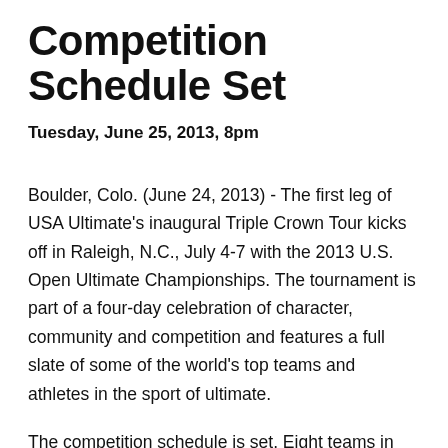Competition Schedule Set
Tuesday, June 25, 2013, 8pm
Boulder, Colo. (June 24, 2013) - The first leg of USA Ultimate's inaugural Triple Crown Tour kicks off in Raleigh, N.C., July 4-7 with the 2013 U.S. Open Ultimate Championships. The tournament is part of a four-day celebration of character, community and competition and features a full slate of some of the world's top teams and athletes in the sport of ultimate.
The competition schedule is set. Eight teams in each of the men's, women's and mixed divisions, will compete in a round-robin tournament and face off against each of the other seven squads in their division. All 12 teams